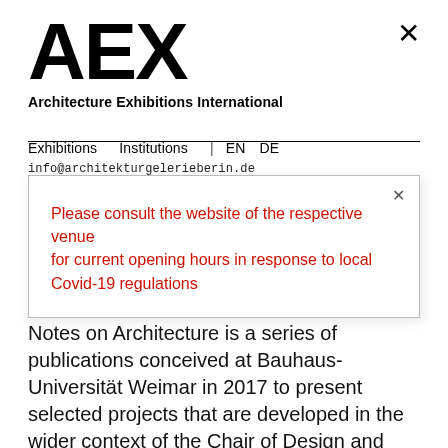AEX
Architecture Exhibitions International
Exhibitions   Institutions  |  EN  DE
info@architekturgelerieberin.de
Please consult the website of the respective venue for current opening hours in response to local Covid-19 regulations
Notes on Architecture is a series of publications conceived at Bauhaus-Universität Weimar in 2017 to present selected projects that are developed in the wider context of the Chair of Design and Housing. It consists of a loose succession